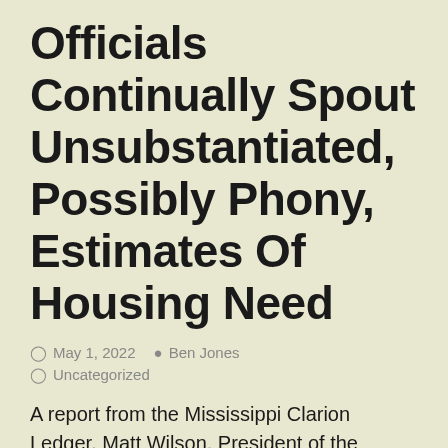Officials Continually Spout Unsubstantiated, Possibly Phony, Estimates Of Housing Need
May 1, 2022  Ben Jones  Uncategorized
A report from the Mississippi Clarion Ledger. Matt Wilson, President of the Mississippi Mortgage Bankers Association, believes the housing market's current state